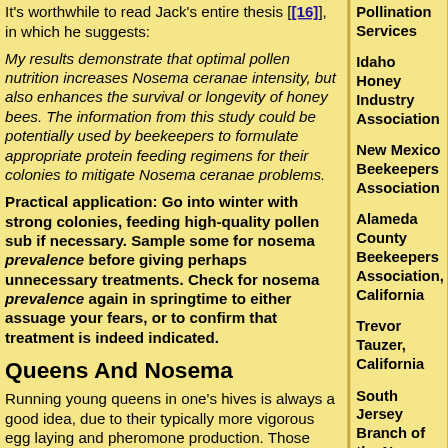It's worthwhile to read Jack's entire thesis [[16]], in which he suggests:
My results demonstrate that optimal pollen nutrition increases Nosema ceranae intensity, but also enhances the survival or longevity of honey bees. The information from this study could be potentially used by beekeepers to formulate appropriate protein feeding regimens for their colonies to mitigate Nosema ceranae problems.
Practical application: Go into winter with strong colonies, feeding high-quality pollen sub if necessary. Sample some for nosema prevalence before giving perhaps unnecessary treatments. Check for nosema prevalence again in springtime to either assuage your fears, or to confirm that treatment is indeed indicated.
Queens And Nosema
Running young queens in one's hives is always a good idea, due to their typically more vigorous egg laying and pheromone production. Those attributes also appear to help colonies to fight nosema. Botías [[17]] ran
Pollination Services
Idaho Honey Industry Association
New Mexico Beekeepers Association
Alameda County Beekeepers Association, California
Trevor Tauzer, California
South Jersey Branch of the New Jersey Beekeepers